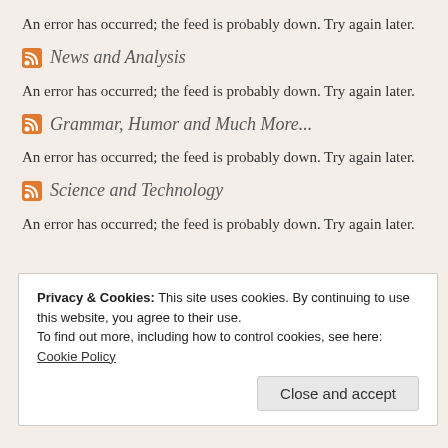An error has occurred; the feed is probably down. Try again later.
News and Analysis
An error has occurred; the feed is probably down. Try again later.
Grammar, Humor and Much More...
An error has occurred; the feed is probably down. Try again later.
Science and Technology
An error has occurred; the feed is probably down. Try again later.
Privacy & Cookies: This site uses cookies. By continuing to use this website, you agree to their use. To find out more, including how to control cookies, see here: Cookie Policy